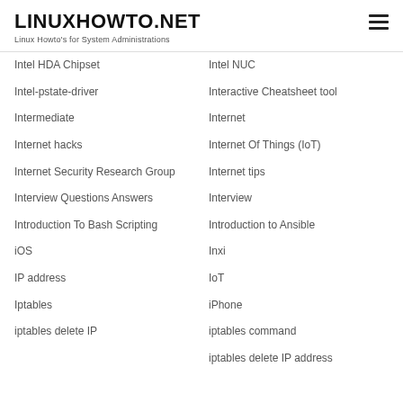LINUXHOWTO.NET
Linux Howto's for System Administrations
Intel HDA Chipset
Intel NUC
Intel-pstate-driver
Interactive Cheatsheet tool
Intermediate
Internet
Internet hacks
Internet Of Things (IoT)
Internet Security Research Group
Internet tips
Interview
Interview Questions Answers
Introduction to Ansible
Introduction To Bash Scripting
Inxi
iOS
IoT
IP address
iPhone
Iptables
iptables command
iptables delete IP
iptables delete IP address